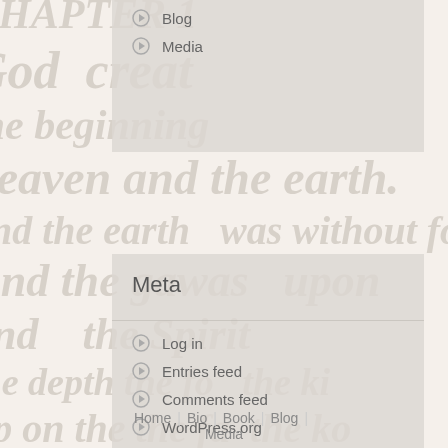Blog
Media
Meta
Log in
Entries feed
Comments feed
WordPress.org
Home | Bio | Book | Blog | Media